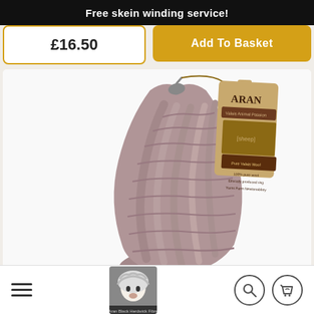Free skein winding service!
£16.50
Add To Basket
[Figure (photo): A skein of taupe/mauve aran weight yarn twisted and hanging, with a kraft paper hang tag reading ARAN with an image of a Valais Blacknose sheep and product details including Pure Valais Wool, Ethically produced ring, Yarns Farm Newtonabbey.]
[Figure (photo): Thumbnail of a Valais Blacknose sheep face in bottom navigation bar.]